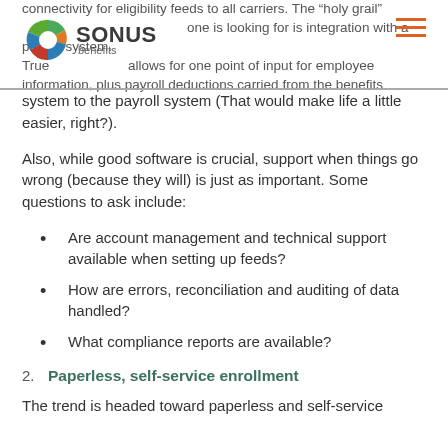connectivity for eligibility feeds to all carriers. The “holy grail” one is looking for is integration with a payroll system. True [sonus benefits] allows for one point of input for employee information, plus payroll deductions carried from the benefits system to the payroll system (That would make life a little easier, right?).
Also, while good software is crucial, support when things go wrong (because they will) is just as important. Some questions to ask include:
Are account management and technical support available when setting up feeds?
How are errors, reconciliation and auditing of data handled?
What compliance reports are available?
2.  Paperless, self-service enrollment
The trend is headed toward paperless and self-service